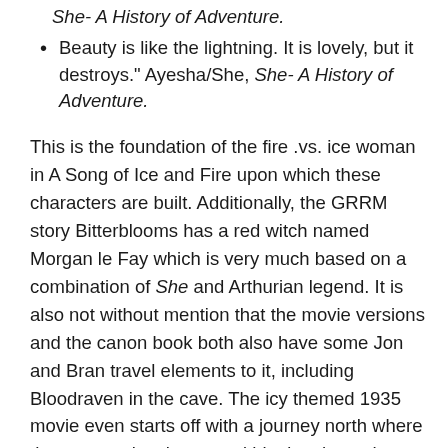She- A History of Adventure.
Beauty is like the lightning. It is lovely, but it destroys." Ayesha/She, She- A History of Adventure.
This is the foundation of the fire .vs. ice woman in A Song of Ice and Fire upon which these characters are built. Additionally, the GRRM story Bitterblooms has a red witch named Morgan le Fay which is very much based on a combination of She and Arthurian legend. It is also not without mention that the movie versions and the canon book both also have some Jon and Bran travel elements to it, including Bloodraven in the cave. The icy themed 1935 movie even starts off with a journey north where they meet a local man and his daughter who are the basis for Craster, his Keep, and his daughters... MINUS the incest.